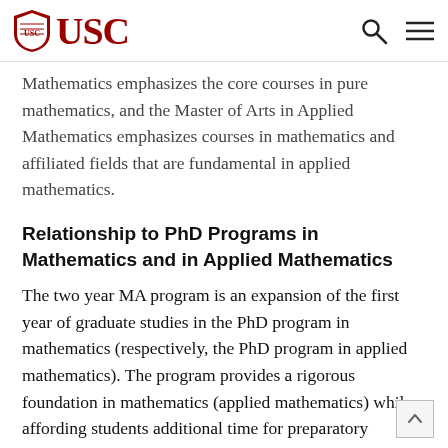USC
Mathematics emphasizes the core courses in pure mathematics, and the Master of Arts in Applied Mathematics emphasizes courses in mathematics and affiliated fields that are fundamental in applied mathematics.
Relationship to PhD Programs in Mathematics and in Applied Mathematics
The two year MA program is an expansion of the first year of graduate studies in the PhD program in mathematics (respectively, the PhD program in applied mathematics). The program provides a rigorous foundation in mathematics (applied mathematics) while affording students additional time for preparatory training. The comprehensive examinations for the MA program can serve as the